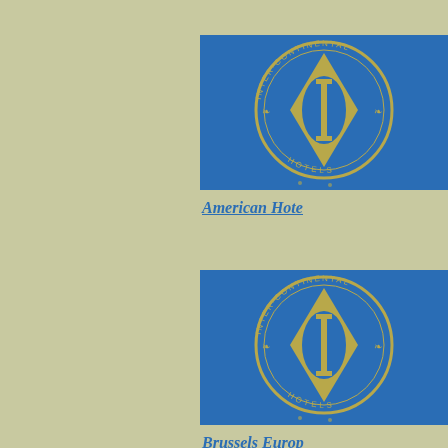[Figure (logo): Inter-Continental Hotels circular logo on blue background with gold diamond shape and letter I in center, text reading INTER·CONTINENTAL around top and HOTELS around bottom]
American Hote
[Figure (logo): Inter-Continental Hotels circular logo on blue background with gold diamond shape and letter I in center, text reading INTER·CONTINENTAL around top and HOTELS around bottom]
Brussels Europ